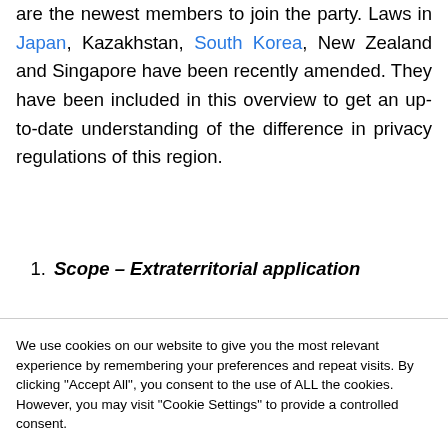are the newest members to join the party. Laws in Japan, Kazakhstan, South Korea, New Zealand and Singapore have been recently amended. They have been included in this overview to get an up-to-date understanding of the difference in privacy regulations of this region.
1. Scope – Extraterritorial application
We use cookies on our website to give you the most relevant experience by remembering your preferences and repeat visits. By clicking "Accept All", you consent to the use of ALL the cookies. However, you may visit "Cookie Settings" to provide a controlled consent.